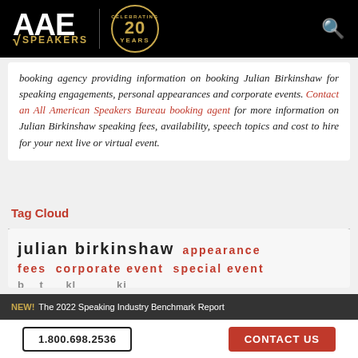AAE SPEAKERS — Celebrating 20 Years
booking agency providing information on booking Julian Birkinshaw for speaking engagements, personal appearances and corporate events. Contact an All American Speakers Bureau booking agent for more information on Julian Birkinshaw speaking fees, availability, speech topics and cost to hire for your next live or virtual event.
Tag Cloud
julian birkinshaw  appearance fees  corporate event  special event
NEW! The 2022 Speaking Industry Benchmark Report | 1.800.698.2536 | CONTACT US